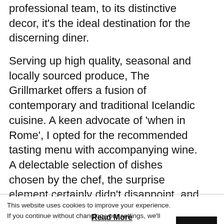professional team, to its distinctive decor, it's the ideal destination for the discerning diner.
Serving up high quality, seasonal and locally sourced produce, The Grillmarket offers a fusion of contemporary and traditional Icelandic cuisine. A keen advocate of 'when in Rome', I opted for the recommended tasting menu with accompanying wine. A delectable selection of dishes chosen by the chef, the surprise element certainly didn't disappoint, and neither did the five-star fare.
www.grillmarkadurinn.is
This website uses cookies to improve your experience. If you continue without changing your settings, we'll assume that you're happy to receive all cookies on the insideKENT website.
Accept
Read More